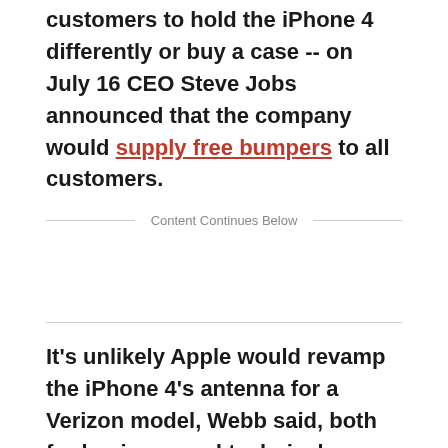customers to hold the iPhone 4 differently or buy a case -- on July 16 CEO Steve Jobs announced that the company would supply free bumpers to all customers.
Content Continues Below
It's unlikely Apple would revamp the iPhone 4's antenna for a Verizon model, Webb said, both for business and technical reasons.
On a business level, Apple is probably committed to retain the iPhone 4's design for several years. That would mimic the life span of the original iPhone design, which went virtually